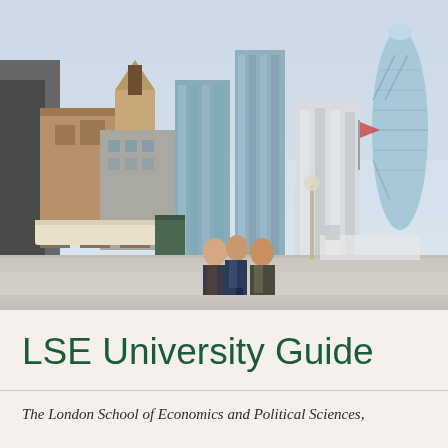[Figure (photo): Aerial/street-level photograph of London city skyline with modern glass skyscrapers including the Gherkin building, and three businessmen walking in the foreground along a riverside promenade with outdoor seating area.]
LSE University Guide
The London School of Economics and Political Sciences,